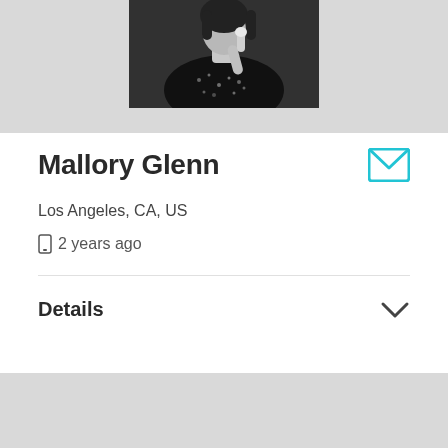[Figure (photo): Black and white profile photo of Mallory Glenn, cropped at top]
Mallory Glenn
Los Angeles, CA, US
2 years ago
Details